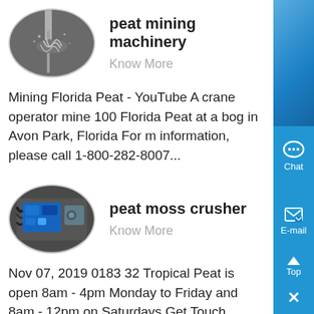[Figure (photo): Oval-shaped photo of peat mining machinery with water/liquid spray]
peat mining machinery
Know More
Mining Florida Peat - YouTube A crane operator mine 100 Florida Peat at a bog in Avon Park, Florida For m information, please call 1-800-282-8007...
[Figure (photo): Oval-shaped photo of peat moss crusher machinery with blue electronic components]
peat moss crusher
Know More
Nov 07, 2019 0183 32 Tropical Peat is open 8am - 4pm Monday to Friday and 8am - 12pm on Saturdays Get Touch Quality products Prepared to suit your specifi needs, plants and applications As a Tablelands raw materials supplier, we have everything you need Pea based products, mulches, gravels, rocks and pebbl